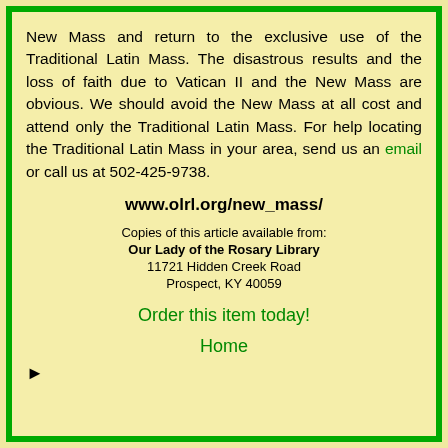New Mass and return to the exclusive use of the Traditional Latin Mass. The disastrous results and the loss of faith due to Vatican II and the New Mass are obvious. We should avoid the New Mass at all cost and attend only the Traditional Latin Mass. For help locating the Traditional Latin Mass in your area, send us an email or call us at 502-425-9738.
www.olrl.org/new_mass/
Copies of this article available from:
Our Lady of the Rosary Library
11721 Hidden Creek Road
Prospect, KY 40059
Order this item today!
Home